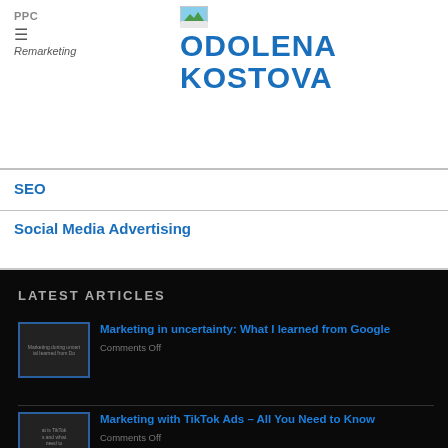PPC
≡
Remarketing
ODOLENA KOSTOVA
SEO
Social Media Advertising
LATEST ARTICLES
Marketing in uncertainty: What I learned from Google
Comments Off
Marketing with TikTok Ads – All You Need to Know
Comments Off